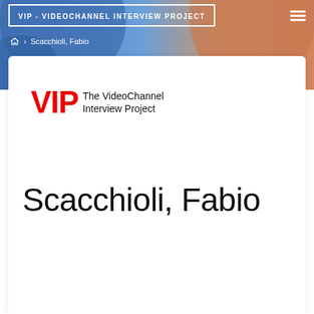VIP - VIDEOCHANNEL INTERVIEW PROJECT
⌂ › Scacchioli, Fabio
[Figure (logo): VIP – The VideoChannel Interview Project logo with red bold VIP text and black subtitle]
Scacchioli, Fabio
Fabio Scacchioli